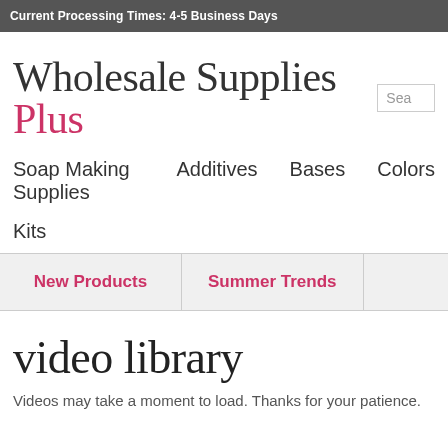Current Processing Times: 4-5 Business Days
Wholesale Supplies Plus
Soap Making Supplies   Additives   Bases   Colors
Kits
New Products   Summer Trends
video library
Videos may take a moment to load. Thanks for your patience.